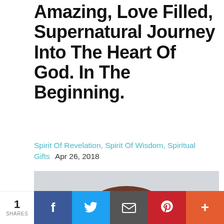Amazing, Love Filled, Supernatural Journey Into The Heart Of God. In The Beginning.
Spirit Of Revelation, Spirit Of Wisdom, Spiritual Gifts   Apr 26, 2018
[Figure (photo): Portrait photo of a middle-aged woman with brown hair pulled back, wearing earrings, with a neutral expression against a light background.]
1 SHARES | Facebook | Twitter | Email | Pinterest | More